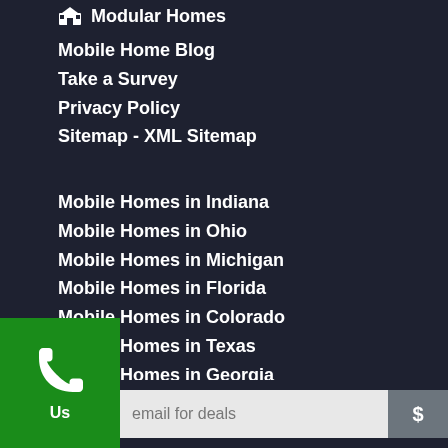Modular Homes
Mobile Home Blog
Take a Survey
Privacy Policy
Sitemap - XML Sitemap
Mobile Homes in Indiana
Mobile Homes in Ohio
Mobile Homes in Michigan
Mobile Homes in Florida
Mobile Homes in Colorado
Mobile Homes in Texas
Mobile Homes in Georgia
email for deals
$
Us